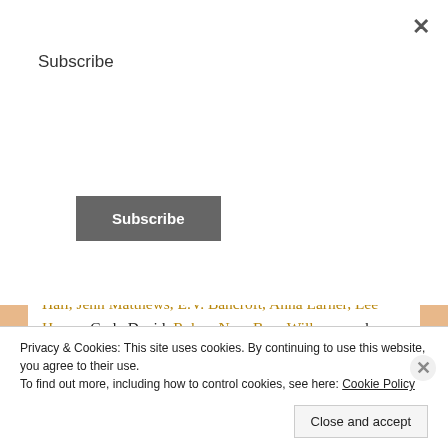Subscribe
Hall, Jenn Matthews, E.V. Bancroft, Anna Larner, Lee Haven, Carla David, Robyn Nyx, Brey Willows, and Valden Bush. How about that for a spectacular line up?
Share this:
One blogger likes this
Privacy & Cookies: This site uses cookies. By continuing to use this website, you agree to their use.
To find out more, including how to control cookies, see here: Cookie Policy